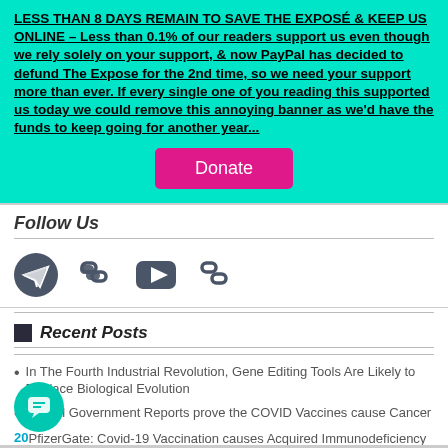LESS THAN 8 DAYS REMAIN TO SAVE THE EXPOSÉ & KEEP US ONLINE – Less than 0.1% of our readers support us even though we rely solely on your support, & now PayPal has decided to defund The Expose for the 2nd time, so we need your support more than ever. If every single one of you reading this supported us today we could remove this annoying banner as we'd have the funds to keep going for another year...
Donate
Follow Us
[Figure (other): Social media icons: Telegram, link/chain, YouTube, link/chain]
Recent Posts
In The Fourth Industrial Revolution, Gene Editing Tools Are Likely to Replace Biological Evolution
Official Government Reports prove the COVID Vaccines cause Cancer
PfizerGate: Covid-19 Vaccination causes Acquired Immunodeficiency Syndrome